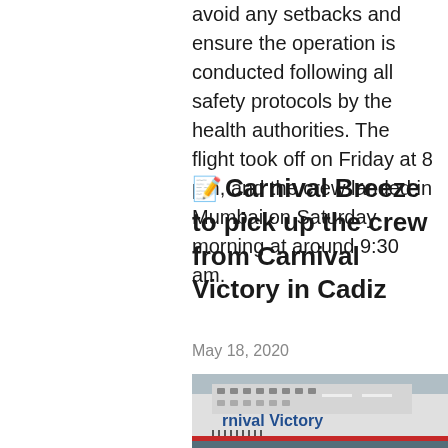avoid any setbacks and ensure the operation is conducted following all safety protocols by the health authorities. The flight took off on Friday at 8 pm, and the crew landed in Mumbai on Saturday morning at around 9:30 am.
✏ Carnival Breeze to pick up the crew from Carnival Victory in Cadiz
May 18, 2020
[Figure (photo): Photo of the Carnival Victory cruise ship showing its exterior with passengers or crew visible on decks, with the ship name 'Carnival Victory' visible on the hull.]